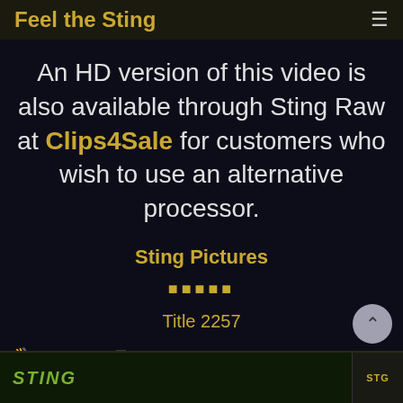Feel the Sting
An HD version of this video is also available through Sting Raw at Clips4Sale for customers who wish to use an alternative processor.
Sting Pictures
★★★★★
Title 2257
Read More   Male Spanking
[Figure (screenshot): Thumbnail image at bottom showing Sting logo and another logo on dark green/black background]